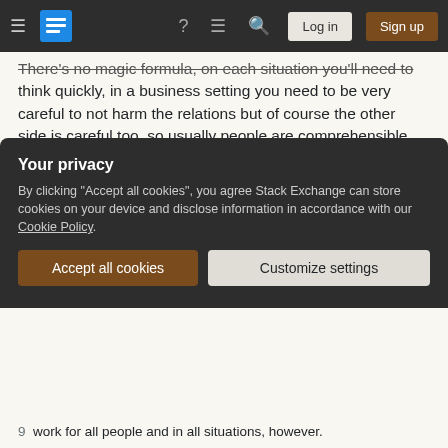[Figure (screenshot): Stack Exchange navigation bar with hamburger menu, logo, icons, Log in and Sign up buttons]
There's no magic formula, on each situation you'll need to think quickly, in a business setting you need to be very careful to not harm the relations but of course the other side is careful too, so usually people are comprehensible and don't ask much.
Share
Improve this answer
Follow
answered May 17, 2011 at 12:04
Avraham
1,548  9  16
1   I would creep out if a rabbi i've just met tells me he'd give me his heart xD giving a card is smooth! – Yerushalmi Jan
Your privacy
By clicking "Accept all cookies", you agree Stack Exchange can store cookies on your device and disclose information in accordance with our Cookie Policy.
Accept all cookies   Customize settings
work for all people and in all situations, however.